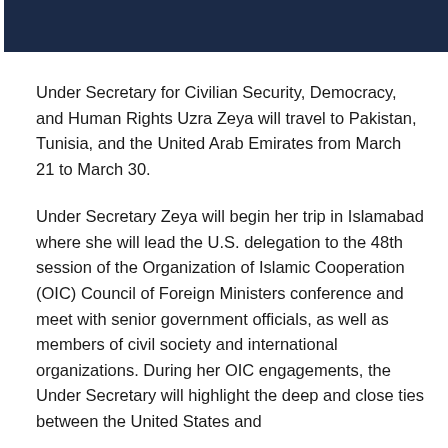Under Secretary for Civilian Security, Democracy, and Human Rights Uzra Zeya will travel to Pakistan, Tunisia, and the United Arab Emirates from March 21 to March 30.
Under Secretary Zeya will begin her trip in Islamabad where she will lead the U.S. delegation to the 48th session of the Organization of Islamic Cooperation (OIC) Council of Foreign Ministers conference and meet with senior government officials, as well as members of civil society and international organizations. During her OIC engagements, the Under Secretary will highlight the deep and close ties between the United States and